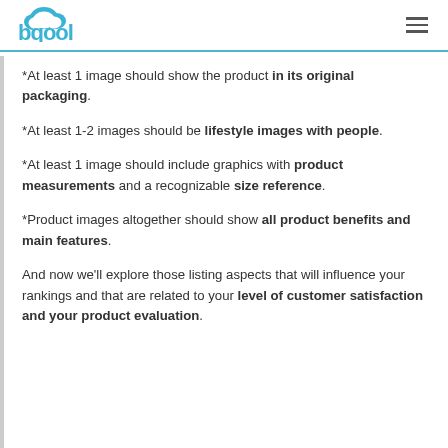bqool
*At least 1 image should show the product in its original packaging.
*At least 1-2 images should be lifestyle images with people.
*At least 1 image should include graphics with product measurements and a recognizable size reference.
*Product images altogether should show all product benefits and main features.
And now we'll explore those listing aspects that will influence your rankings and that are related to your level of customer satisfaction and your product evaluation.